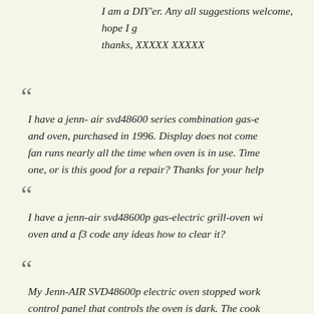I am a DIY'er. Any all suggestions welcome, hope I g... thanks, XXXXX XXXXX
I have a jenn- air svd48600 series combination gas-e... and oven, purchased in 1996. Display does not come... fan runs nearly all the time when oven is in use. Time... one, or is this good for a repair? Thanks for your help
I have a jenn-air svd48600p gas-electric grill-oven wi... oven and a f3 code any ideas how to clear it?
My Jenn-AIR SVD48600p electric oven stopped work... control panel that controls the oven is dark. The cook... exhaust fan and oven light work. Circuit breakder has...